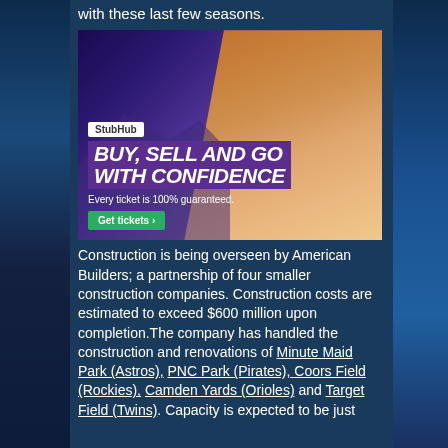with these last few seasons.
[Figure (photo): StubHub advertisement showing a young woman with hands raised at a concert. Text reads: StubHub, BUY, SELL AND GO WITH CONFIDENCE, Every ticket is 100% guaranteed. Get tickets >]
Construction is being overseen by American Builders; a partnership of four smaller construction companies. Construction costs are estimated to exceed $600 million upon completion. The company has handled the construction and renovations of Minute Maid Park (Astros), PNC Park (Pirates), Coors Field (Rockies), Camden Yards (Orioles) and Target Field (Twins). Capacity is expected to be just